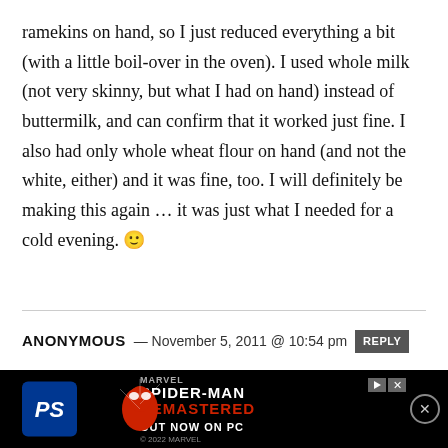ramekins on hand, so I just reduced everything a bit (with a little boil-over in the oven). I used whole milk (not very skinny, but what I had on hand) instead of buttermilk, and can confirm that it worked just fine. I also had only whole wheat flour on hand (and not the white, either) and it was fine, too. I will definitely be making this again ... it was just what I needed for a cold evening. 🙂
ANONYMOUS — November 5, 2011 @ 10:54 pm  REPLY
Made this tonight they were so so good. Reminded me of my favorite apple pie my grandma makes. Thanks Gina fo...
[Figure (screenshot): Advertisement banner for Marvel Spider-Man Remastered 'Out Now on PC' game, published by PlayStation, with black background.]